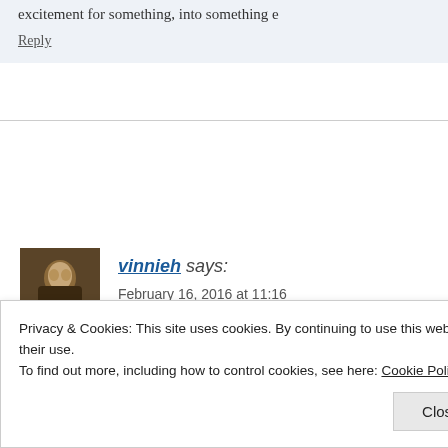excitement for something, into something e
Reply
vinnieh says:
February 16, 2016 at 11:16
I loved the way you structured this review Emma, reall
Reply
Privacy & Cookies: This site uses cookies. By continuing to use this website, you agree to their use.
To find out more, including how to control cookies, see here: Cookie Policy
Close and accept